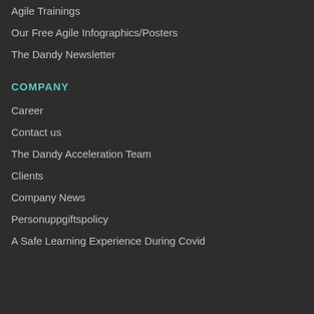Agile Trainings
Our Free Agile Infographics/Posters
The Dandy Newsletter
COMPANY
Career
Contact us
The Dandy Acceleration Team
Clients
Company News
Personuppgiftspolicy
A Safe Learning Experience During Covid